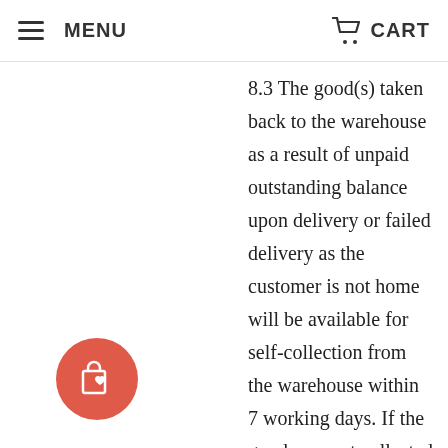MENU  CART
8.3 The good(s) taken back to the warehouse as a result of unpaid outstanding balance upon delivery or failed delivery as the customer is not home will be available for self-collection from the warehouse within 7 working days. If the goods are not collected within 7 working days, only 50% of the order value will be refunded and the order is considered cancelled by the client and the cancellation accepted by Mulamu Furnishings Pte Ltd. Should there be a need to arrange for storage for your items, the request